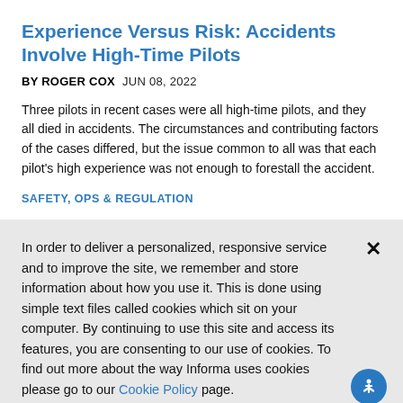Experience Versus Risk: Accidents Involve High-Time Pilots
BY ROGER COX   JUN 08, 2022
Three pilots in recent cases were all high-time pilots, and they all died in accidents. The circumstances and contributing factors of the cases differed, but the issue common to all was that each pilot's high experience was not enough to forestall the accident.
SAFETY, OPS & REGULATION
In order to deliver a personalized, responsive service and to improve the site, we remember and store information about how you use it. This is done using simple text files called cookies which sit on your computer. By continuing to use this site and access its features, you are consenting to our use of cookies. To find out more about the way Informa uses cookies please go to our Cookie Policy page.